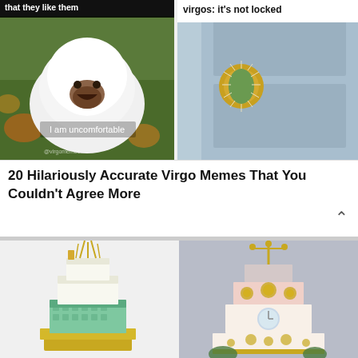that they like them
[Figure (photo): White fluffy animal (possibly a wombat or guinea pig) with open mouth on grass, with text overlay 'I am uncomfortable' and watermark '@virgomemes']
virgos: it's not locked
[Figure (photo): A cactus used as a door knob on a blue door with gold hardware]
20 Hilariously Accurate Virgo Memes That You Couldn't Agree More
[Figure (photo): A multi-tiered green and gold fairytale wedding cake with tall gold spires]
[Figure (photo): An ornate pink and gold wedding cake with floral decorations and a candelabra on top]